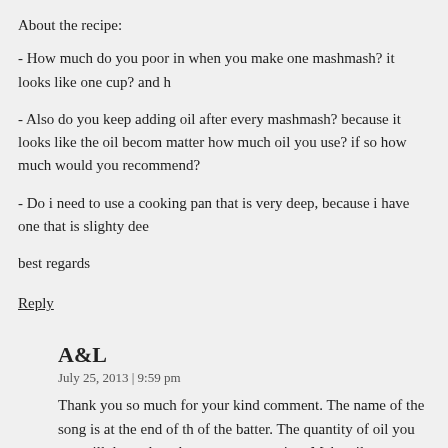About the recipe:
- How much do you poor in when you make one mashmash? it looks like one cup? and h
- Also do you keep adding oil after every mashmash? because it looks like the oil becom matter how much oil you use? if so how much would you recommend?
- Do i need to use a cooking pan that is very deep, because i have one that is slighty dee
best regards
Reply
A&L
July 25, 2013 | 9:59 pm
Thank you so much for your kind comment. The name of the song is at the end of th of the batter. The quantity of oil you use will depend on the pan you are using. Make oil to cover the batter at all times. Whenever you see the oil level going down, you w with a round bottom pan, but you can use the one you have.
Reply
nasra
July 25, 2013 | 3:28 pm